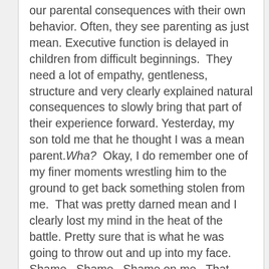our parental consequences with their own behavior. Often, they see parenting as just mean. Executive function is delayed in children from difficult beginnings.  They need a lot of empathy, gentleness, structure and very clearly explained natural consequences to slowly bring that part of their experience forward. Yesterday, my son told me that he thought I was a mean parent.Wha?  Okay, I do remember one of my finer moments wrestling him to the ground to get back something stolen from me.  That was pretty darned mean and I clearly lost my mind in the heat of the battle. Pretty sure that is what he was going to throw out and up into my face.  Shame.  Shame.  Shame on me.  That was mean.